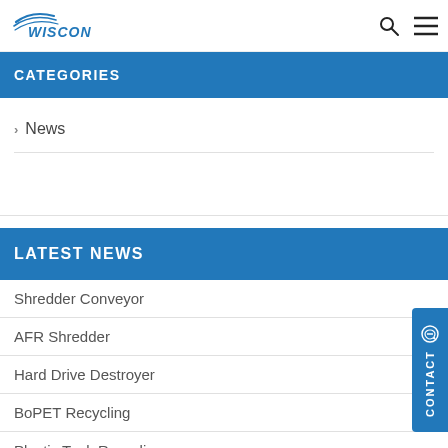WISCON
CATEGORIES
News
LATEST NEWS
Shredder Conveyor
AFR Shredder
Hard Drive Destroyer
BoPET Recycling
Plastic Tank Recycling